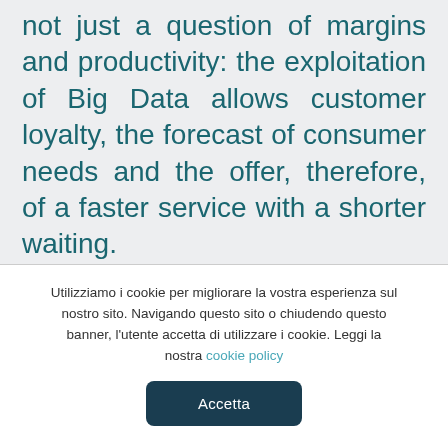not just a question of margins and productivity: the exploitation of Big Data allows customer loyalty, the forecast of consumer needs and the offer, therefore, of a faster service with a shorter waiting.
The Big Data trend in banking
The banking sector is the one that most of all is exploiting the great potential of Big
Utilizziamo i cookie per migliorare la vostra esperienza sul nostro sito. Navigando questo sito o chiudendo questo banner, l'utente accetta di utilizzare i cookie. Leggi la nostra cookie policy